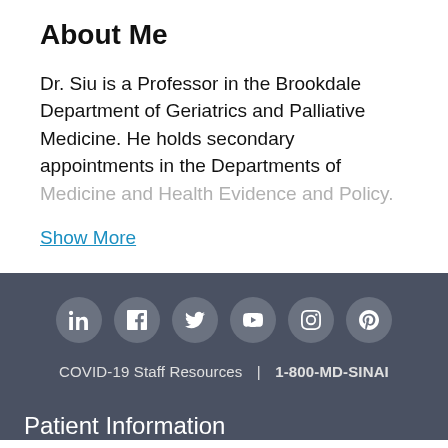About Me
Dr. Siu is a Professor in the Brookdale Department of Geriatrics and Palliative Medicine. He holds secondary appointments in the Departments of Medicine and Health Evidence and Policy.
Show More
COVID-19 Staff Resources | 1-800-MD-SINAI
Patient Information